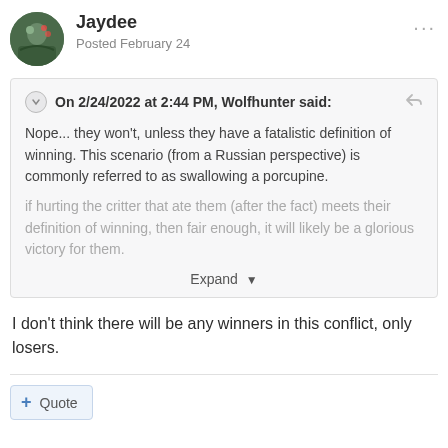Jaydee
Posted February 24
On 2/24/2022 at 2:44 PM, Wolfhunter said:
Nope... they won't, unless they have a fatalistic definition of winning. This scenario (from a Russian perspective) is commonly referred to as swallowing a porcupine.
if hurting the critter that ate them (after the fact) meets their definition of winning, then fair enough, it will likely be a glorious victory for them.
Expand
I don't think there will be any winners in this conflict, only losers.
Quote